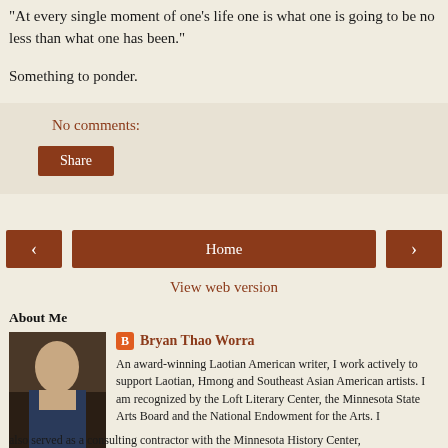At every single moment of one's life one is what one is going to be no less than what one has been."
Something to ponder.
No comments:
Share
Home
View web version
About Me
Bryan Thao Worra
An award-winning Laotian American writer, I work actively to support Laotian, Hmong and Southeast Asian American artists. I am recognized by the Loft Literary Center, the Minnesota State Arts Board and the National Endowment for the Arts. I also served as a consulting contractor with the Minnesota History Center,